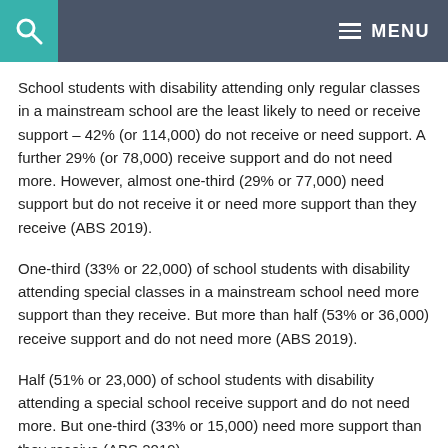MENU
School students with disability attending only regular classes in a mainstream school are the least likely to need or receive support – 42% (or 114,000) do not receive or need support. A further 29% (or 78,000) receive support and do not need more. However, almost one-third (29% or 77,000) need support but do not receive it or need more support than they receive (ABS 2019).
One-third (33% or 22,000) of school students with disability attending special classes in a mainstream school need more support than they receive. But more than half (53% or 36,000) receive support and do not need more (ABS 2019).
Half (51% or 23,000) of school students with disability attending a special school receive support and do not need more. But one-third (33% or 15,000) need more support than they receive (ABS 2019).